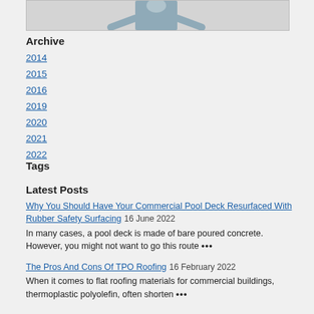[Figure (photo): Partial image at top of page, appears to show a person in a light-colored outfit against a light background.]
Archive
2014
2015
2016
2019
2020
2021
2022
Tags
Latest Posts
Why You Should Have Your Commercial Pool Deck Resurfaced With Rubber Safety Surfacing  16 June 2022
In many cases, a pool deck is made of bare poured concrete. However, you might not want to go this route ⋯
The Pros And Cons Of TPO Roofing  16 February 2022
When it comes to flat roofing materials for commercial buildings, thermoplastic polyolefin, often shorten ⋯